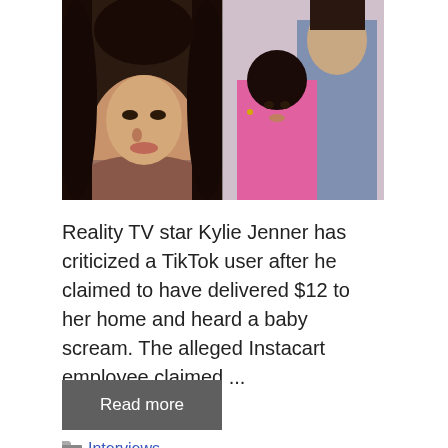[Figure (photo): Composite photo showing on the left a woman with long dark hair (Kylie Jenner), and on the right a young girl in a pink outfit with a man in a light blue shirt in the background.]
Reality TV star Kylie Jenner has criticized a TikTok user after he claimed to have delivered $12 to her home and heard a baby scream. The alleged Instacart employee claimed ...
Read more
Interviews